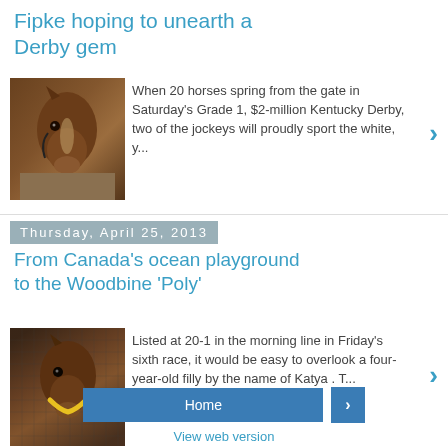Fipke hoping to unearth a Derby gem
[Figure (photo): Close-up photo of a brown horse in a stable]
When 20 horses spring from the gate in Saturday's Grade 1, $2-million Kentucky Derby, two of the jockeys will proudly sport the white, y...
Thursday, April 25, 2013
From Canada's ocean playground to the Woodbine 'Poly'
[Figure (photo): Close-up photo of a brown horse with a yellow strap in a stable]
Listed at 20-1 in the morning line in Friday's sixth race, it would be easy to overlook a four-year-old filly by the name of Katya . T...
Home   View web version